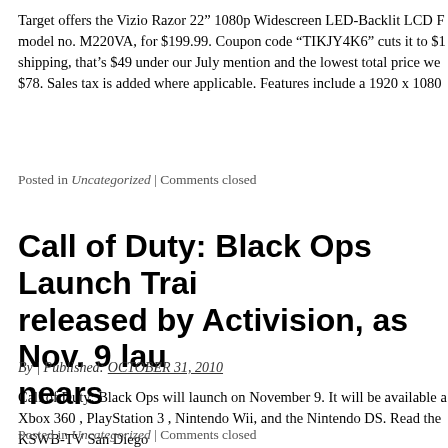Target offers the Vizio Razor 22” 1080p Widescreen LED-Backlit LCD model no. M220VA, for $199.99. Coupon code “TIKJY4K6” cuts it to $ shipping, that’s $49 under our July mention and the lowest total price we $78. Sales tax is added where applicable. Features include a 1920 x 1080
Posted in Uncategorized | Comments closed
Call of Duty: Black Ops Launch Trai released by Activision, as Nov. 9 lau nears
By | Published: OCTOBER 31, 2010
Call of Duty: Black Ops will launch on November 9. It will be available Xbox 360 , PlayStation 3 , Nintendo Wii, and the Nintendo DS. Read the KSWB-TV San Diego
Posted in Uncategorized | Comments closed